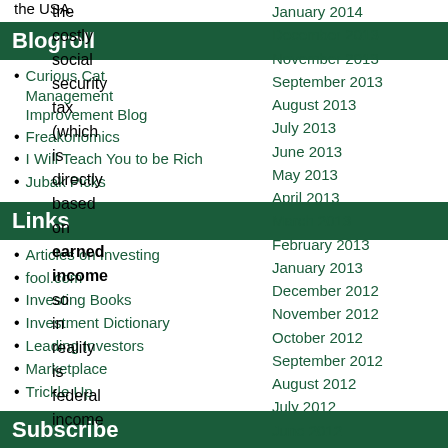the USA
Blogroll
Curious Cat Management Improvement Blog
Freakonomics
I Will Teach You to be Rich
Jubak Picks
Links
Articles on Investing
fool.com
Investing Books
Investment Dictionary
Leading Investors
Marketplace
Trickle Up
Subscribe
RSS Feed
the costly social security tax (which is directly based on earned income so in reality is federal income
January 2014
December 2013
November 2013
September 2013
August 2013
July 2013
June 2013
May 2013
April 2013
March 2013
February 2013
January 2013
December 2012
November 2012
October 2012
September 2012
August 2012
July 2012
June 2012
May 2012